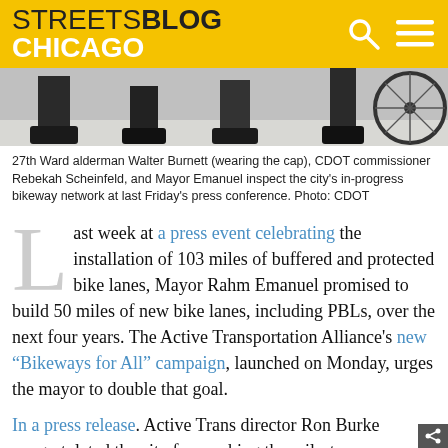STREETSBLOG CHICAGO
[Figure (photo): Bottom portion of a black and white photo showing feet/legs of people standing, including a bicycle wheel visible at right. Referenced as showing 27th Ward alderman Walter Burnett, CDOT commissioner Rebekah Scheinfeld, and Mayor Emanuel.]
27th Ward alderman Walter Burnett (wearing the cap), CDOT commissioner Rebekah Scheinfeld, and Mayor Emanuel inspect the city's in-progress bikeway network at last Friday's press conference. Photo: CDOT
Last week at a press event celebrating the installation of 103 miles of buffered and protected bike lanes, Mayor Rahm Emanuel promised to build 50 miles of new bike lanes, including PBLs, over the next four years. The Active Transportation Alliance's new “Bikeways for All” campaign, launched on Monday, urges the mayor to double that goal.
In a press release. Active Trans director Ron Burke congratulated the city for reaching the milestone